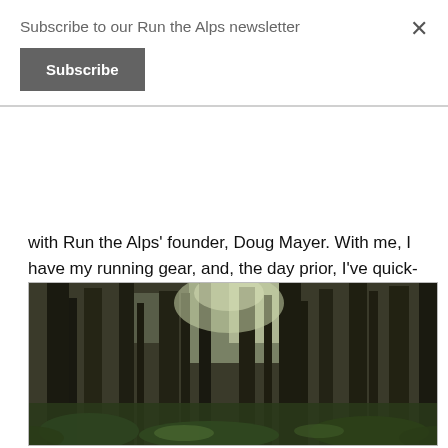Subscribe to our Run the Alps newsletter
Subscribe
with Run the Alps' founder, Doug Mayer. With me, I have my running gear, and, the day prior, I've quick-walked up Gilman Mountain, jogged over to South Peak and descended into dusk on a favored, 6-mile loop near my home mountain. All okay, and so, when Doug says, let's run a loop on Madison's lower slopes around 5:00, I'm in.
[Figure (photo): Forest photo showing tall dark conifer trees with light filtering through the canopy, forest floor with green undergrowth visible below]